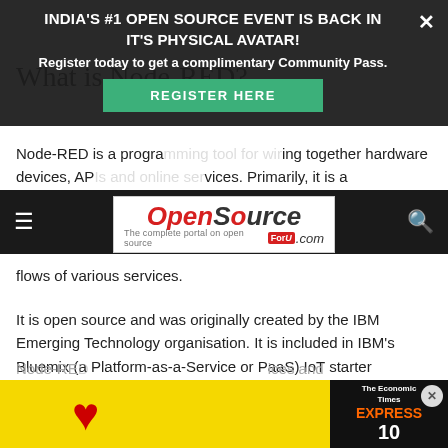What is Node-RED?
[Figure (infographic): Dark overlay banner with text: INDIA'S #1 OPEN SOURCE EVENT IS BACK IN IT'S PHYSICAL AVATAR! Register today to get a complimentary Community Pass. Green REGISTER HERE button. Close X button.]
[Figure (logo): OpenSource ForU .com logo — red italic Open, grey italic Source, red ForU badge, .com — with tagline 'The complete portal on open source']
Node-RED is a programming tool for wiring together hardware devices, APIs and online services. Primarily, it is a flows of various services.
It is open source and was originally created by the IBM Emerging Technology organisation. It is included in IBM's Bluemix (a Platform-as-a-Service or PaaS) IoT starter application package. Node-RED can also be deployed separately using the Node.js application. At present, Node-RED is a JS Foundation project.
Node-RE… ices and
[Figure (infographic): Yellow advertisement banner at bottom with red heart and Express newspaper brand in black box on the right. X close button.]